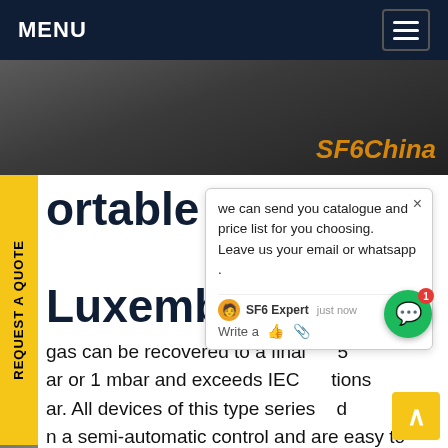MENU
[Figure (photo): Dark asphalt/wet ground hero image with SF6China orange text overlay]
portable gis sf6 recovery unit Luxembourg
gas can be recovered to a final 5 bar or 1 mbar and exceeds IEC tions ar. All devices of this type series d n a semi-automatic control and are easy to erate: The functions are selected by means of a way ball valve and a selector switch.Get price
[Figure (screenshot): Chat popup overlay: 'we can send you catalogue and price list for you choosing. Leave us your email or whatsapp .' with SF6 Expert just now label and Write a / thumbs up / paperclip icons]
[Figure (photo): Bottom image strip showing engineering equipment, crane-like structures on light background]